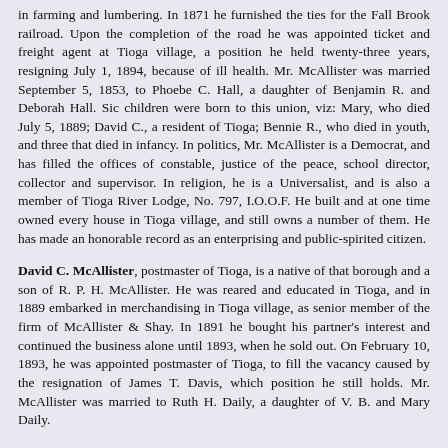in farming and lumbering. In 1871 he furnished the ties for the Fall Brook railroad. Upon the completion of the road he was appointed ticket and freight agent at Tioga village, a position he held twenty-three years, resigning July 1, 1894, because of ill health. Mr. McAllister was married September 5, 1853, to Phoebe C. Hall, a daughter of Benjamin R. and Deborah Hall. Sic children were born to this union, viz: Mary, who died July 5, 1889; David C., a resident of Tioga; Bennie R., who died in youth, and three that died in infancy. In politics, Mr. McAllister is a Democrat, and has filled the offices of constable, justice of the peace, school director, collector and supervisor. In religion, he is a Universalist, and is also a member of Tioga River Lodge, No. 797, I.O.O.F. He built and at one time owned every house in Tioga village, and still owns a number of them. He has made an honorable record as an enterprising and public-spirited citizen.
David C. McAllister, postmaster of Tioga, is a native of that borough and a son of R. P. H. McAllister. He was reared and educated in Tioga, and in 1889 embarked in merchandising in Tioga village, as senior member of the firm of McAllister & Shay. In 1891 he bought his partner's interest and continued the business alone until 1893, when he sold out. On February 10, 1893, he was appointed postmaster of Tioga, to fill the vacancy caused by the resignation of James T. Davis, which position he still holds. Mr. McAllister was married to Ruth H. Daily, a daughter of V. B. and Mary Daily. On June 10, 1893, and has three children. 7 l...